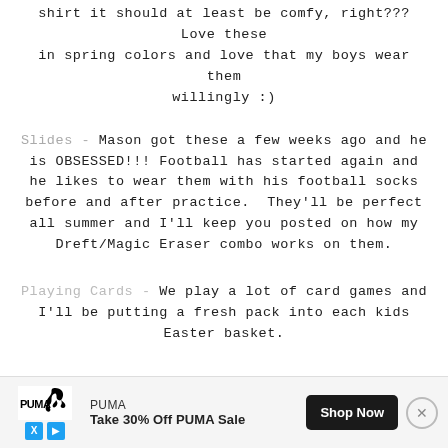shirt it should at least be comfy, right??? Love these in spring colors and love that my boys wear them willingly :)
Slides - Mason got these a few weeks ago and he is OBSESSED!!! Football has started again and he likes to wear them with his football socks before and after practice.  They'll be perfect all summer and I'll keep you posted on how my Dreft/Magic Eraser combo works on them.
Playing Cards - We play a lot of card games and I'll be putting a fresh pack into each kids Easter basket.
.
[Figure (other): Advertisement banner for PUMA: Puma logo with X and play icons, text 'PUMA Take 30% Off PUMA Sale', Shop Now button, close button]